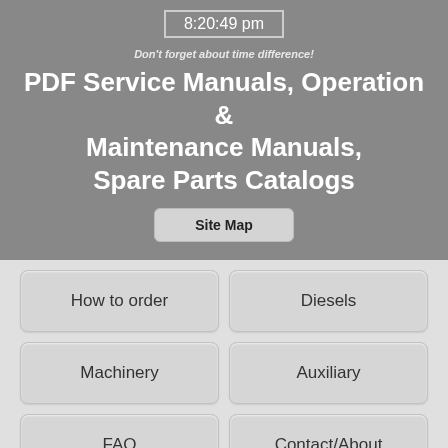8:20:49 pm
Don't forget about time difference!
PDF Service Manuals, Operation & Maintenance Manuals, Spare Parts Catalogs
Site Map
How to order
Diesels
Machinery
Auxiliary
FAQ
Contact/About
Write and Ask: brovertek@gmail.com
Search